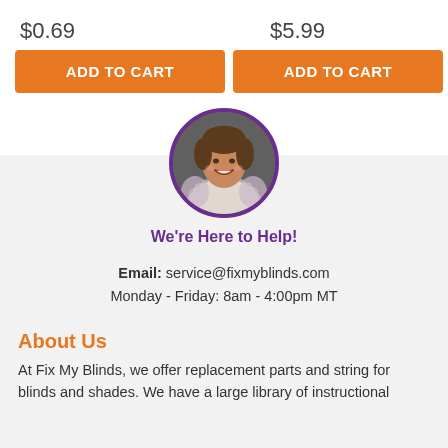$0.69
ADD TO CART
$5.99
ADD TO CART
[Figure (photo): Circular profile photo of a smiling woman with short brown hair, wearing a striped top and floral cardigan, with a purple circular border, against a dark grey background.]
We're Here to Help!
Email: service@fixmyblinds.com
Monday - Friday: 8am - 4:00pm MT
About Us
At Fix My Blinds, we offer replacement parts and string for blinds and shades. We have a large library of instructional